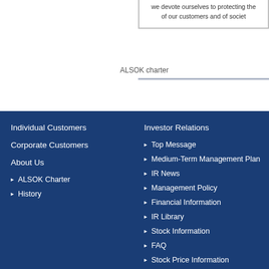we devote ourselves to protecting the of our customers and of societ
ALSOK charter
Individual Customers
Corporate Customers
About Us
ALSOK Charter
History
Investor Relations
Top Message
Medium-Term Management Plan
IR News
Management Policy
Financial Information
IR Library
Stock Information
FAQ
Stock Price Information
IR E-mail Alerts